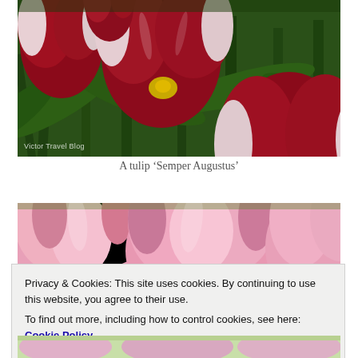[Figure (photo): Close-up photograph of red and white tulip flowers ('Semper Augustus') with green stems and leaves. Watermark reads 'Victor Travel Blog'.]
A tulip ‘Semper Augustus’
[Figure (photo): Close-up photograph of pink tulip flowers with green background.]
Privacy & Cookies: This site uses cookies. By continuing to use this website, you agree to their use.
To find out more, including how to control cookies, see here: Cookie Policy
[Figure (photo): Partial view of additional pink tulip flowers at the bottom of the page.]